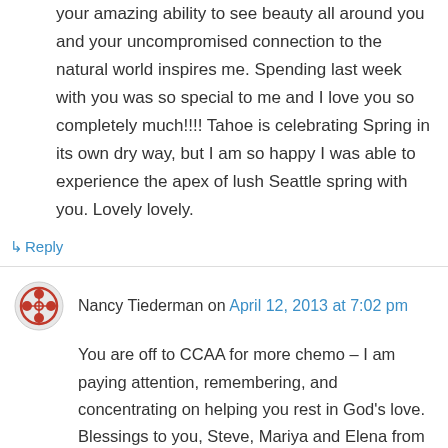your amazing ability to see beauty all around you and your uncompromised connection to the natural world inspires me. Spending last week with you was so special to me and I love you so completely much!!!! Tahoe is celebrating Spring in its own dry way, but I am so happy I was able to experience the apex of lush Seattle spring with you. Lovely lovely.
↳ Reply
Nancy Tiederman on April 12, 2013 at 7:02 pm
You are off to CCAA for more chemo – I am paying attention, remembering, and concentrating on helping you rest in God's love. Blessings to you, Steve, Mariya and Elena from